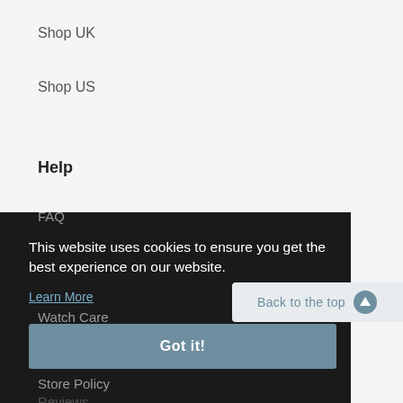Shop UK
Shop US
Help
FAQ
This website uses cookies to ensure you get the best experience on our website.
Learn More
Watch Care
Got it!
Store Policy
Reviews
Back to the top